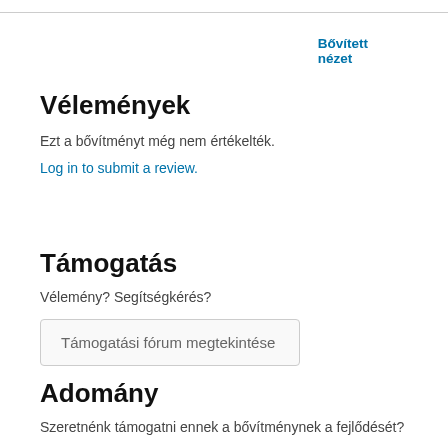Bővített nézet
Vélemények
Ezt a bővítményt még nem értékelték.
Log in to submit a review.
Támogatás
Vélemény? Segítségkérés?
Támogatási fórum megtekintése
Adomány
Szeretnénk támogatni ennek a bővítménynek a fejlődését?